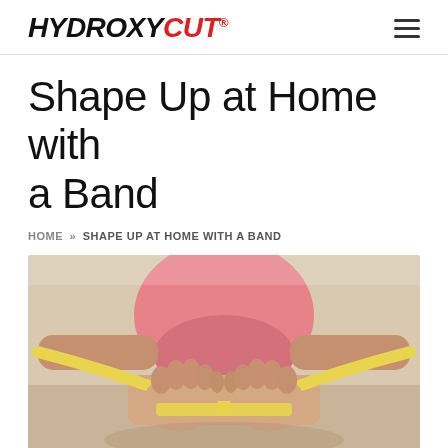HYDROXYCUT®
Shape Up at Home with a Band
HOME » SHAPE UP AT HOME WITH A BAND
[Figure (photo): Close-up photo of a person in a pink top doing a resistance band exercise. The feet are in the foreground with a yellow resistance band stretched across them. The person is seated on the floor pulling the band with both hands.]